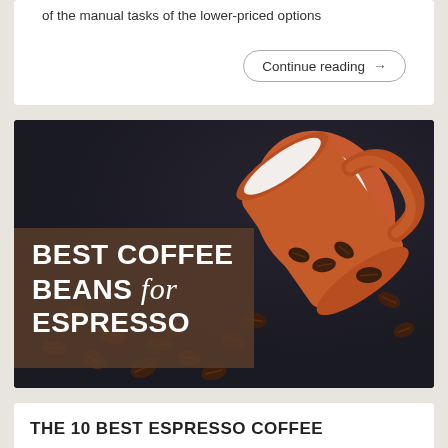of the manual tasks of the lower-priced options
Continue reading →
[Figure (photo): Photo of coffee beans spilling out of an orange/red espresso cup on a dark background, with overlay text reading 'BEST COFFEE BEANS for ESPRESSO']
THE 10 BEST ESPRESSO COFFEE